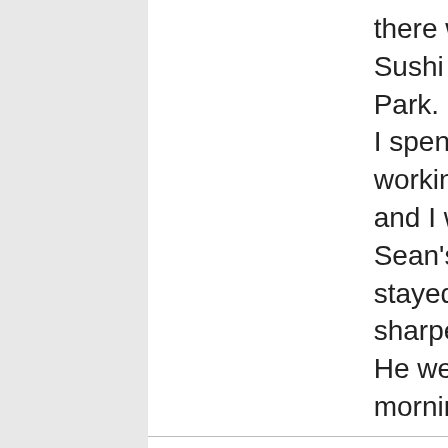there we went to Mizu Sushi restaurant in Hyde Park. On Sunday, Ben and I spent part of the day working on this site. Cathy and I went off to Peter and Sean's for dinner and Ben stayed home and sharpened more pencils. He went home Monday morning.
| Date |  |
| --- | --- |
| Date | July 20-22, 2019 Saturday-Monday |